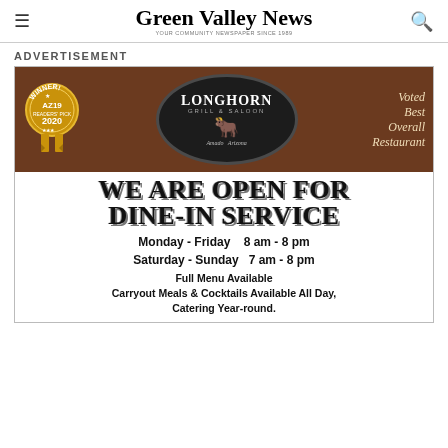Green Valley News
ADVERTISEMENT
[Figure (photo): Longhorn Grill & Saloon advertisement. Shows restaurant logo in dark oval with longhorn skull, AZ19 2020 Winner award badge, 'Voted Best Overall Restaurant' text. Main text: WE ARE OPEN FOR DINE-IN SERVICE. Monday - Friday 8 am - 8 pm. Saturday - Sunday 7 am - 8 pm. Full Menu Available. Carryout Meals & Cocktails Available All Day, Catering Year-round.]